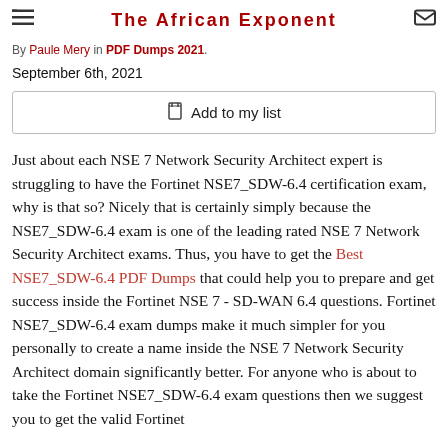The African Exponent
By Paule Mery in PDF Dumps 2021.
September 6th, 2021
Add to my list
Just about each NSE 7 Network Security Architect expert is struggling to have the Fortinet NSE7_SDW-6.4 certification exam, why is that so? Nicely that is certainly simply because the NSE7_SDW-6.4 exam is one of the leading rated NSE 7 Network Security Architect exams. Thus, you have to get the Best NSE7_SDW-6.4 PDF Dumps that could help you to prepare and get success inside the Fortinet NSE 7 - SD-WAN 6.4 questions. Fortinet NSE7_SDW-6.4 exam dumps make it much simpler for you personally to create a name inside the NSE 7 Network Security Architect domain significantly better. For anyone who is about to take the Fortinet NSE7_SDW-6.4 exam questions then we suggest you to get the valid Fortinet